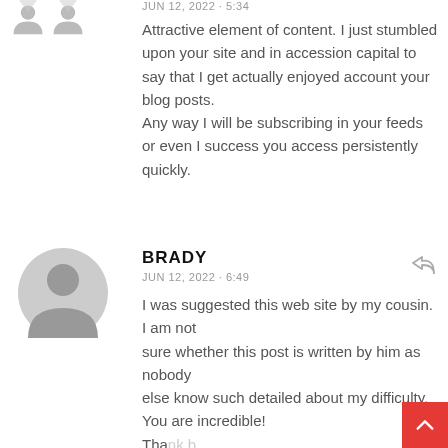JUN 12, 2022 · 5:34
Attractive element of content. I just stumbled upon your site and in accession capital to say that I get actually enjoyed account your blog posts.
Any way I will be subscribing in your feeds or even I success you access persistently quickly.
BRADY
JUN 12, 2022 · 6:49
I was suggested this web site by my cousin. I am not sure whether this post is written by him as nobody else know such detailed about my difficulty. You are incredible!
Thank b...